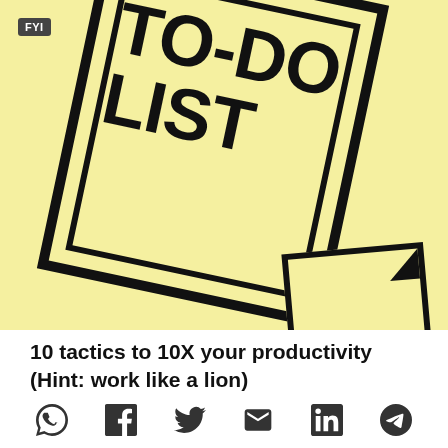[Figure (illustration): A yellow to-do list notepad card with thick black border and bold text reading 'TO-DO LIST', rotated slightly clockwise, with an FYI badge in the top-left corner and a smaller yellow note card with a folded corner in the bottom-right area.]
10 tactics to 10X your productivity (Hint: work like a lion)
[Figure (other): Social sharing icons row: WhatsApp, Facebook, Twitter/X, Email, LinkedIn, Telegram]